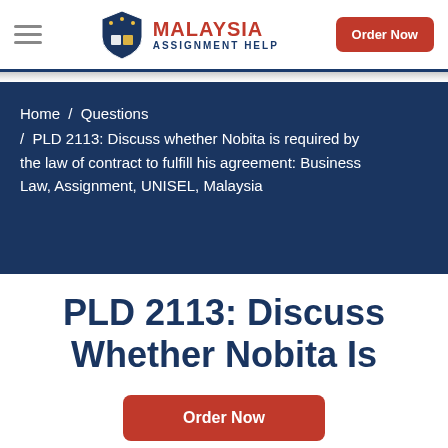Malaysia Assignment Help — Order Now
Home / Questions / PLD 2113: Discuss whether Nobita is required by the law of contract to fulfill his agreement: Business Law, Assignment, UNISEL, Malaysia
PLD 2113: Discuss Whether Nobita Is
Order Now